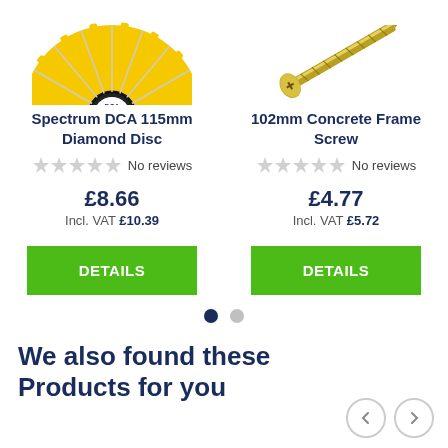[Figure (photo): Top portion of a yellow diamond cutting disc with DCA G.F. ABRASIVE label]
[Figure (photo): A 102mm concrete frame screw (gold/brass colored)]
Spectrum DCA 115mm Diamond Disc
102mm Concrete Frame Screw
No reviews
No reviews
£8.66
Incl. VAT £10.39
£4.77
Incl. VAT £5.72
DETAILS
DETAILS
We also found these Products for you